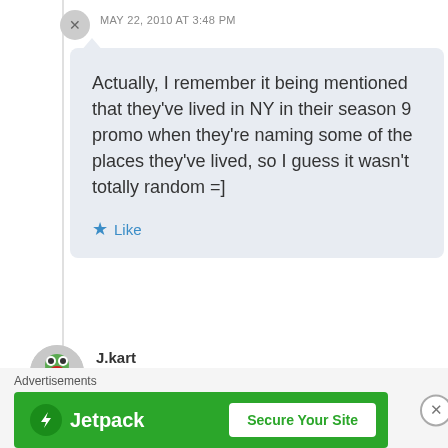MAY 22, 2010 AT 3:48 PM
Actually, I remember it being mentioned that they've lived in NY in their season 9 promo when they're naming some of the places they've lived, so I guess it wasn't totally random =]
Like
J.kart
MAY 23, 2010 AT 7:38 AM
Advertisements
[Figure (logo): Jetpack advertisement banner with logo and 'Secure Your Site' button on green background]